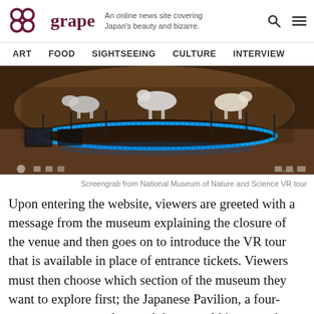grape — An online news site covering Japan's beauty and bizarre.
[Figure (screenshot): Museum interior VR screenshot showing taxidermied animals on a circular display platform with blue LED strip lighting]
Screengrab from National Museum of Nature and Science VR tour
Upon entering the website, viewers are greeted with a message from the museum explaining the closure of the venue and then goes on to introduce the VR tour that is available in place of entrance tickets. Viewers must then choose which section of the museum they want to explore first; the Japanese Pavilion, a four-storey area centered around the natural history and